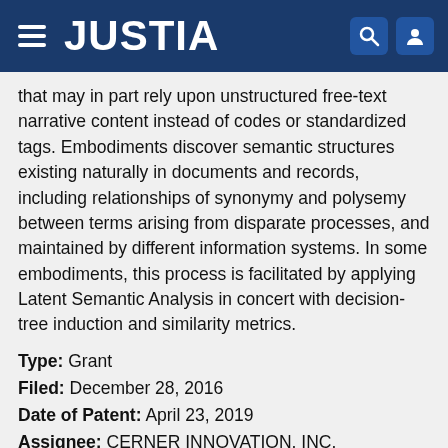JUSTIA
that may in part rely upon unstructured free-text narrative content instead of codes or standardized tags. Embodiments discover semantic structures existing naturally in documents and records, including relationships of synonymy and polysemy between terms arising from disparate processes, and maintained by different information systems. In some embodiments, this process is facilitated by applying Latent Semantic Analysis in concert with decision-tree induction and similarity metrics.
Type: Grant
Filed: December 28, 2016
Date of Patent: April 23, 2019
Assignee: CERNER INNOVATION, INC.
Inventors: Douglas S. McNair, John Christopher Murrish, Kanakasabha Kailasam